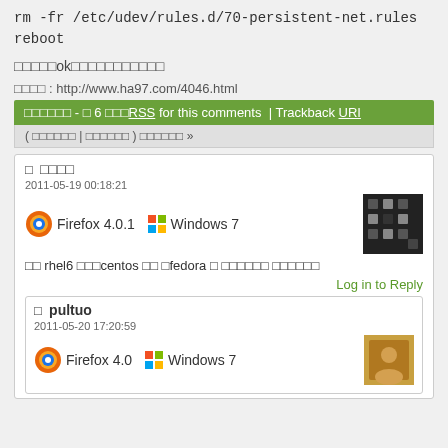rm -fr /etc/udev/rules.d/70-persistent-net.rules
reboot
□□□□□ok□□□□□□□□□□□
□□□□ : http://www.ha97.com/4046.html
□□□□□□ - □ 6 □□□RSS for this comments | Trackback URI
( □□□□□□ | □□□□□□ ) □□□□□□ »
□ □□□□
2011-05-19 00:18:21
Firefox 4.0.1  Windows 7
□□ rhel6 □□□centos □□ □fedora □ □□□□□□ □□□□□□
Log in to Reply
□ pultuo
2011-05-20 17:20:59
Firefox 4.0  Windows 7